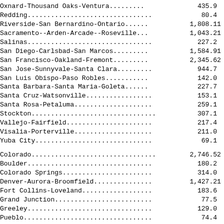| Area | Value1 | Value2 |
| --- | --- | --- |
| Napa... | 71.2 |  |
| Oxnard-Thousand Oaks-Ventura... | 435.9 |  |
| Redding... | 80.4 |  |
| Riverside-San Bernardino-Ontario... | 1,808.1 | 1 |
| Sacramento--Arden-Arcade--Roseville... | 1,043.2 | 1 |
| Salinas... | 227.2 |  |
| San Diego-Carlsbad-San Marcos... | 1,584.9 | 1 |
| San Francisco-Oakland-Fremont... | 2,345.6 | 2 |
| San Jose-Sunnyvale-Santa Clara... | 944.7 |  |
| San Luis Obispo-Paso Robles... | 142.0 |  |
| Santa Barbara-Santa Maria-Goleta... | 227.7 |  |
| Santa Cruz-Watsonville... | 153.1 |  |
| Santa Rosa-Petaluma... | 259.1 |  |
| Stockton... | 307.1 |  |
| Vallejo-Fairfield... | 217.4 |  |
| Visalia-Porterville... | 211.0 |  |
| Yuba City... | 69.1 |  |
| Colorado... | 2,746.5 | 2 |
| Boulder... | 180.2 |  |
| Colorado Springs... | 314.0 |  |
| Denver-Aurora-Broomfield... | 1,427.2 | 1 |
| Fort Collins-Loveland... | 183.6 |  |
| Grand Junction... | 77.5 |  |
| Greeley... | 129.0 |  |
| Pueblo... | 74.4 |  |